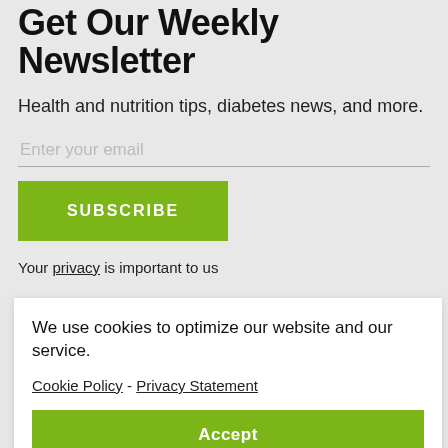Get Our Weekly Newsletter
Health and nutrition tips, diabetes news, and more.
Enter your email
SUBSCRIBE
Your privacy is important to us
We use cookies to optimize our website and our service.
Cookie Policy - Privacy Statement
Accept
a Diabetes Media Foundation program